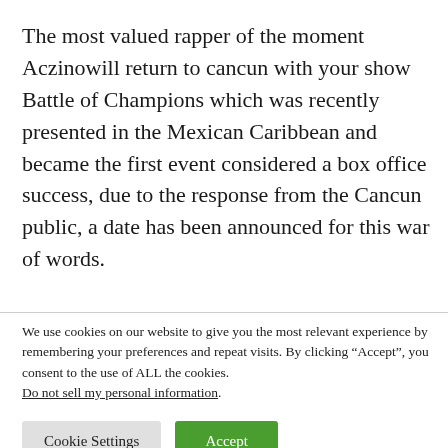The most valued rapper of the moment Aczinowill return to cancun with your show Battle of Champions which was recently presented in the Mexican Caribbean and became the first event considered a box office success, due to the response from the Cancun public, a date has been announced for this war of words.
We use cookies on our website to give you the most relevant experience by remembering your preferences and repeat visits. By clicking “Accept”, you consent to the use of ALL the cookies. Do not sell my personal information.